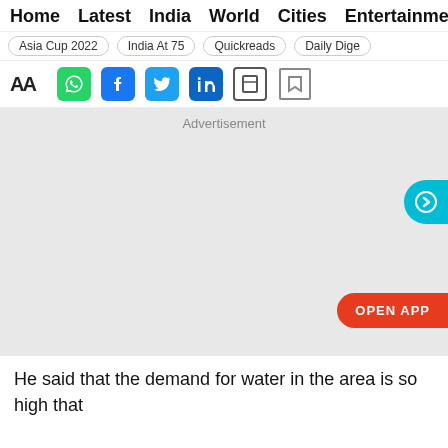Home  Latest  India  World  Cities  Entertainment
Asia Cup 2022  India At 75  Quickreads  Daily Dige
AA  [WhatsApp] [Facebook] [Twitter] [LinkedIn] [Bookmark] [W]
[Figure (screenshot): Grey advertisement placeholder area with 'Advertisement' text label, a teal circular arrow button on the right side, and an 'OPEN APP' red pill button at the bottom right]
He said that the demand for water in the area is so high that